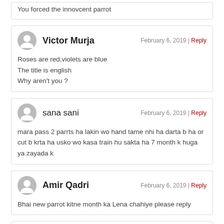You forced the innovcent parrot
Victor Murja — February 6, 2019 | Reply
Roses are red,violets are blue
The title is english
Why aren't you ?
sana sani — February 6, 2019 | Reply
mara pass 2 parrts ha lakin wo hand tame nhi ha darta b ha or cut b krta ha usko wo kasa train hu sakta ha 7 month k huga ya zayada k
Amir Qadri — February 6, 2019 | Reply
Bhai new parrot kitne month ka Lena chahiye please reply
Sonal Verma — February 6, 2019 | Reply